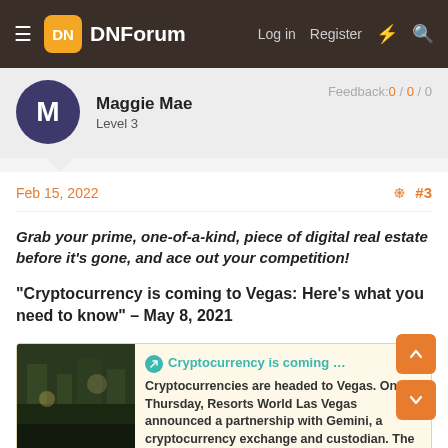DNForum — Log in  Register
Maggie Mae
Level 3
Feedback:0 / 0 / 0
Feb 15, 2022   #3
Grab your prime, one-of-a-kind, piece of digital real estate before it's gone, and ace out your competition!
"Cryptocurrency is coming to Vegas: Here's what you need to know" – May 8, 2021
[Figure (screenshot): Link preview card for 'Cryptocurrency is coming to Vegas: He...' from thepointsguy.com. Shows a dark restaurant/venue image on the left. Preview text: 'Cryptocurrencies are headed to Vegas. On Thursday, Resorts World Las Vegas announced a partnership with Gemini, a cryptocurrency exchange and custodian. The...' Source: thepointsguy.com]
Reply